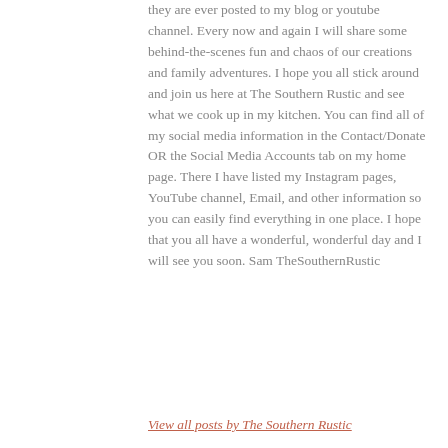they are ever posted to my blog or youtube channel. Every now and again I will share some behind-the-scenes fun and chaos of our creations and family adventures. I hope you all stick around and join us here at The Southern Rustic and see what we cook up in my kitchen. You can find all of my social media information in the Contact/Donate OR the Social Media Accounts tab on my home page. There I have listed my Instagram pages, YouTube channel, Email, and other information so you can easily find everything in one place. I hope that you all have a wonderful, wonderful day and I will see you soon. Sam TheSouthernRustic
View all posts by The Southern Rustic